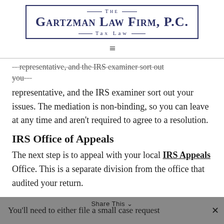[Figure (logo): The Gartzman Law Firm, P.C. Tax Law logo with border]
representative, and the IRS examiner sort out your issues. The mediation is non-binding, so you can leave at any time and aren't required to agree to a resolution.
IRS Office of Appeals
The next step is to appeal with your local IRS Appeals Office. This is a separate division from the office that audited your return.
You'll need to either file a small case request